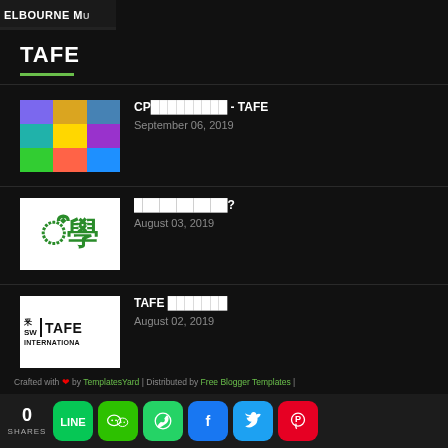[Figure (screenshot): Partial image with text ELBOURNE MU visible at top left]
TAFE
[Figure (photo): Grid of 9 people photos with colorful backgrounds - CP article thumbnail]
CP█████████ - TAFE
September 06, 2019
[Figure (logo): White background with green Chinese characters]
███████████?
August 03, 2019
[Figure (logo): TAFE NSW International logo on white background]
TAFE ███████
August 02, 2019
Crafted with ❤ by TemplatesYard | Distributed by Free Blogger Templates |
0 SHARES